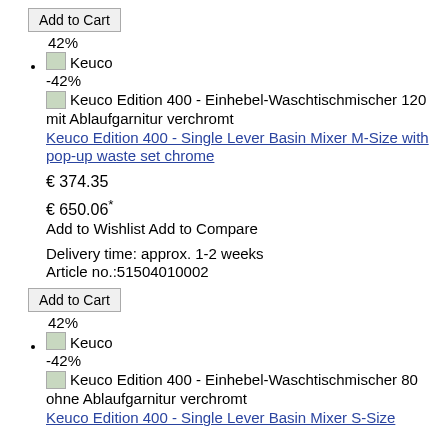Add to Cart
42%
Keuco -42% Keuco Edition 400 - Einhebel-Waschtischmischer 120 mit Ablaufgarnitur verchromt Keuco Edition 400 - Single Lever Basin Mixer M-Size with pop-up waste set chrome
€ 374.35
€ 650.06* Add to Wishlist Add to Compare
Delivery time: approx. 1-2 weeks
Article no.:51504010002
Add to Cart
42%
Keuco -42% Keuco Edition 400 - Einhebel-Waschtischmischer 80 ohne Ablaufgarnitur verchromt Keuco Edition 400 - Single Lever Basin Mixer S-Size